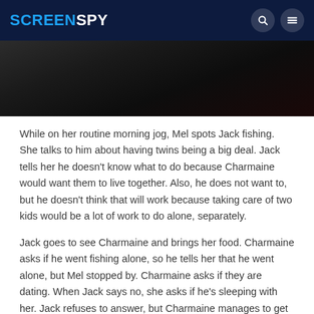SCREENSPY
[Figure (photo): Dark scene showing two people, one with red hair, in a dimly lit setting]
While on her routine morning jog, Mel spots Jack fishing. She talks to him about having twins being a big deal. Jack tells her he doesn't know what to do because Charmaine would want them to live together. Also, he does not want to, but he doesn't think that will work because taking care of two kids would be a lot of work to do alone, separately.
Jack goes to see Charmaine and brings her food. Charmaine asks if he went fishing alone, so he tells her that he went alone, but Mel stopped by. Charmaine asks if they are dating. When Jack says no, she asks if he's sleeping with her. Jack refuses to answer, but Charmaine manages to get him to admit that he and Mel slept together once after they broke up. Charmaine thanks him